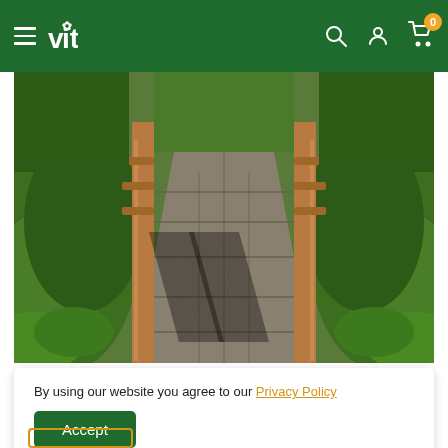vita — navigation header with hamburger menu, search, account, and cart icons
[Figure (photo): Garden pathway made of stone slabs leading through a wooden archway/pergola, surrounded by lush green ferns, hedges, and plants on both sides.]
By using our website you agree to our Privacy Policy
Accept